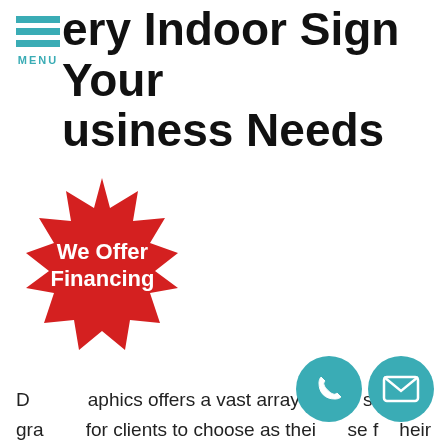[Figure (logo): Hamburger menu icon with three teal horizontal bars and MENU text below]
Every Indoor Sign Your Business Needs
[Figure (infographic): Red starburst badge with white text reading 'We Offer Financing']
D... graphics offers a vast array of ... si...nd graphics for clients to choose as their ... se f...heir
[Figure (illustration): Teal circular phone icon]
[Figure (illustration): Teal circular email/envelope icon]